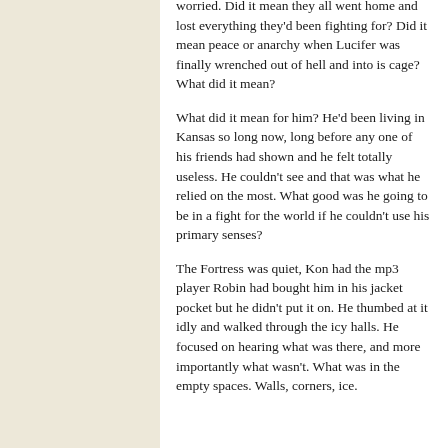worried. Did it mean they all went home and lost everything they'd been fighting for? Did it mean peace or anarchy when Lucifer was finally wrenched out of hell and into is cage? What did it mean?
What did it mean for him? He'd been living in Kansas so long now, long before any one of his friends had shown and he felt totally useless. He couldn't see and that was what he relied on the most. What good was he going to be in a fight for the world if he couldn't use his primary senses?
The Fortress was quiet, Kon had the mp3 player Robin had bought him in his jacket pocket but he didn't put it on. He thumbed at it idly and walked through the icy halls. He focused on hearing what was there, and more importantly what wasn't. What was in the empty spaces. Walls, corners, ice.